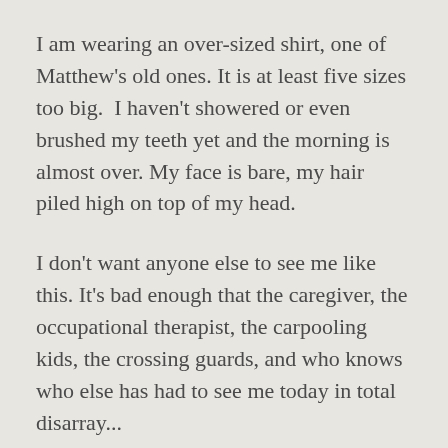I am wearing an over-sized shirt, one of Matthew's old ones. It is at least five sizes too big.  I haven't showered or even brushed my teeth yet and the morning is almost over. My face is bare, my hair piled high on top of my head.
I don't want anyone else to see me like this. It's bad enough that the caregiver, the occupational therapist, the carpooling kids, the crossing guards, and who knows who else has had to see me today in total disarray...
I am slightly annoyed at this minor inconvenience.